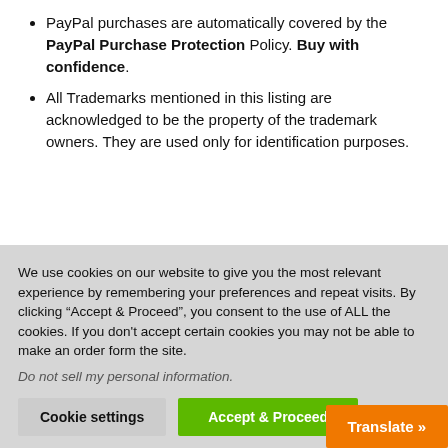PayPal purchases are automatically covered by the PayPal Purchase Protection Policy. Buy with confidence.
All Trademarks mentioned in this listing are acknowledged to be the property of the trademark owners. They are used only for identification purposes.
We use cookies on our website to give you the most relevant experience by remembering your preferences and repeat visits. By clicking “Accept & Proceed”, you consent to the use of ALL the cookies. If you don't accept certain cookies you may not be able to make an order form the site.
Do not sell my personal information.